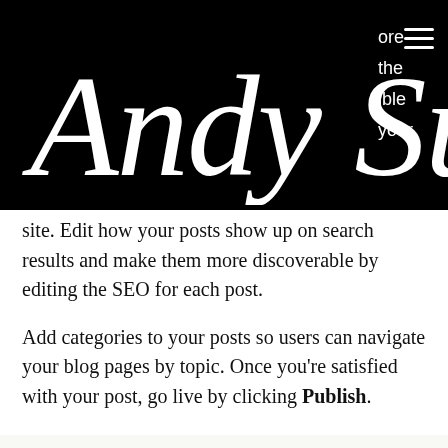Andy Sutton [logo/signature]
ore the ible your site. Edit how your posts show up on search results and make them more discoverable by editing the SEO for each post.
Add categories to your posts so users can navigate your blog pages by topic. Once you’re satisfied with your post, go live by clicking Publish.
Phone  Email